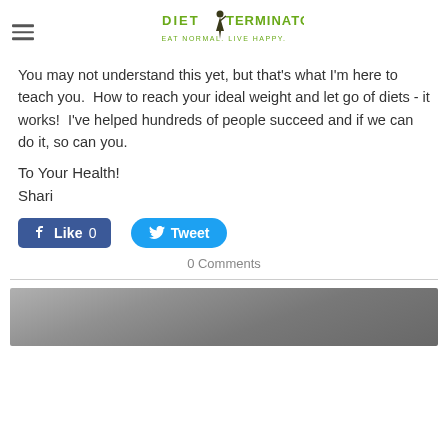Diet Terminator – Eat Normal. Live Happy.
You may not understand this yet, but that's what I'm here to teach you. How to reach your ideal weight and let go of diets - it works! I've helped hundreds of people succeed and if we can do it, so can you.
To Your Health!
Shari
[Figure (other): Facebook Like button (blue, count: 0) and Twitter Tweet button (blue rounded)]
0 Comments
[Figure (photo): Partial photo at bottom of page, appears to show a person outdoors, grey/overcast tones]